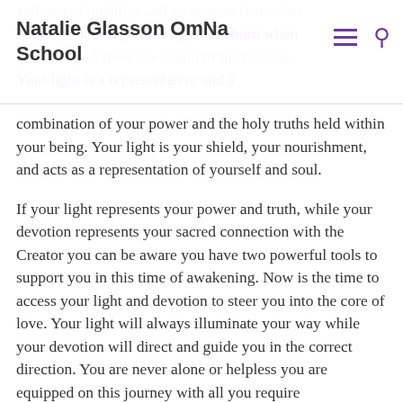Natalie Glasson OmNa School
and sacred qualities and awareness that exists within your being. Your light was born when you emerged from the womb of the Creator. Your light is a representative and a combination of your power and the holy truths held within your being. Your light is your shield, your nourishment, and acts as a representation of yourself and soul.
If your light represents your power and truth, while your devotion represents your sacred connection with the Creator you can be aware you have two powerful tools to support you in this time of awakening. Now is the time to access your light and devotion to steer you into the core of love. Your light will always illuminate your way while your devotion will direct and guide you in the correct direction. You are never alone or helpless you are equipped on this journey with all you require